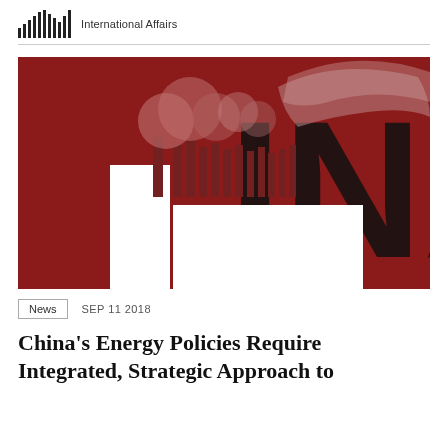International Affairs
[Figure (illustration): Dark red/maroon background image with stylized industrial smokestacks emitting smoke clouds in lighter shades of red/pink, with the large letters 'INA' visible on the right side in black, forming part of the word 'CHINA'.]
News   SEP 11 2018
China's Energy Policies Require Integrated, Strategic Approach to